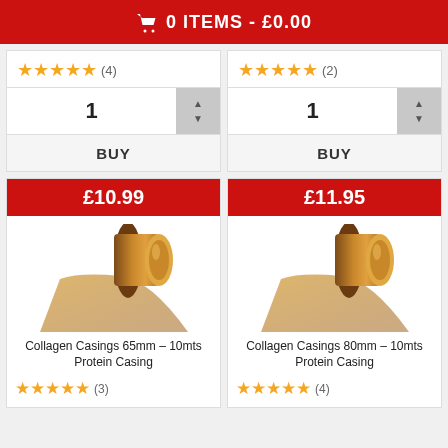0 ITEMS - £0.00
[Figure (screenshot): Product card top section (left): 5 gold stars with rating (4), quantity selector showing 1 with up/down arrows, BUY button]
[Figure (screenshot): Product card top section (right): 5 gold stars with rating (2), quantity selector showing 1 with up/down arrows, BUY button]
[Figure (screenshot): Product card: price £10.99, collagen casings roll image, name 'Collagen Casings 65mm – 10mts Protein Casing', 5 stars rating (3)]
[Figure (screenshot): Product card: price £11.95, collagen casings roll image, name 'Collagen Casings 80mm – 10mts Protein Casing', 5 stars rating (4)]